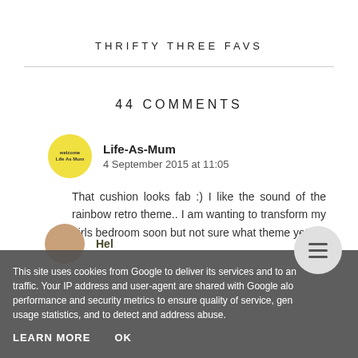THRIFTY THREE FAVS
44 COMMENTS
Life-As-Mum
4 September 2015 at 11:05
That cushion looks fab :) I like the sound of the rainbow retro theme.. I am wanting to transform my girls bedroom soon but not sure what theme yet x
Hel...
This site uses cookies from Google to deliver its services and to analyse traffic. Your IP address and user-agent are shared with Google along with performance and security metrics to ensure quality of service, generate usage statistics, and to detect and address abuse.
LEARN MORE
OK